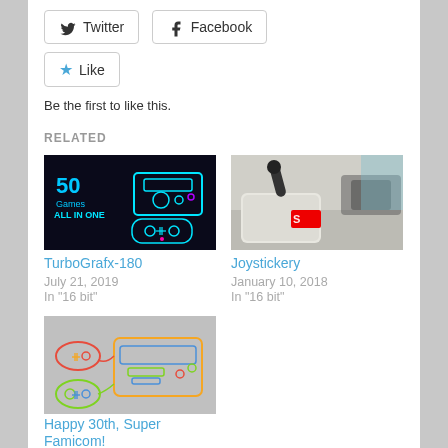Twitter
Facebook
Like
Be the first to like this.
RELATED
[Figure (photo): TurboGrafx-180 promotional image: dark background with neon-colored game console and controller, text '50 Games ALL IN ONE']
TurboGrafx-180
July 21, 2019
In "16 bit"
[Figure (photo): Joystickery: close-up photo of vintage joystick and game controllers on a light surface]
Joystickery
January 10, 2018
In "16 bit"
[Figure (illustration): Happy 30th, Super Famicom! - colorful line drawing of Super Famicom console and controllers on grey background]
Happy 30th, Super Famicom!
November 23, 2020